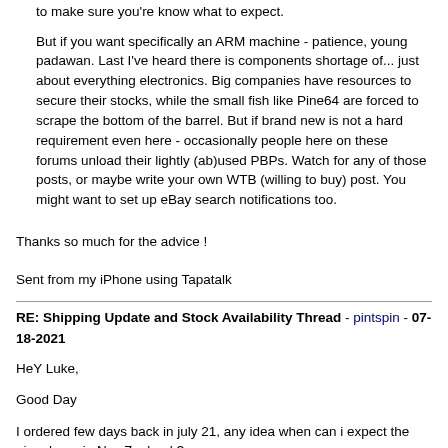to make sure you're know what to expect.
But if you want specifically an ARM machine - patience, young padawan. Last I've heard there is components shortage of... just about everything electronics. Big companies have resources to secure their stocks, while the small fish like Pine64 are forced to scrape the bottom of the barrel. But if brand new is not a hard requirement even here - occasionally people here on these forums unload their lightly (ab)used PBPs. Watch for any of those posts, or maybe write your own WTB (willing to buy) post. You might want to set up eBay search notifications too.
Thanks so much for the advice !
Sent from my iPhone using Tapatalk
RE: Shipping Update and Stock Availability Thread - pintspin - 07-18-2021
HeY Luke,
Good Day
I ordered few days back in july 21, any idea when can i expect the pinephone in NewZealand ?